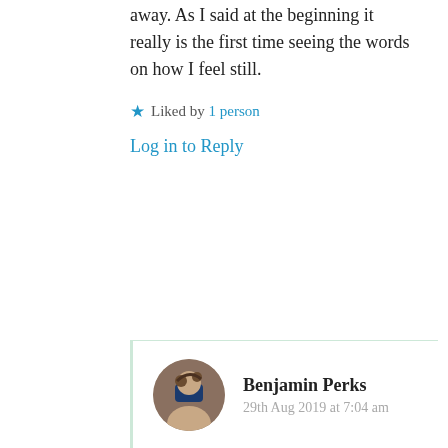away. As I said at the beginning it really is the first time seeing the words on how I feel still.
Liked by 1 person
Log in to Reply
Benjamin Perks
29th Aug 2019 at 7:04 am
Dear Linda, Thanks so much for this feedback. Your response is one of the main reasons I wrote the blog in the first place. To tell the story of people like us. There is a brilliant UK poet